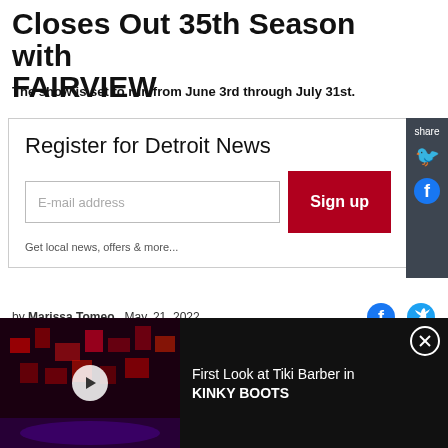Closes Out 35th Season with FAIRVIEW
The show is set to run from June 3rd through July 31st.
[Figure (other): Register for Detroit News signup box with email input and Sign up button]
by Marissa Tomeo   May. 21, 2022
[Figure (other): Video advertisement banner: First Look at Tiki Barber in KINKY BOOTS, with dark stage background and play button]